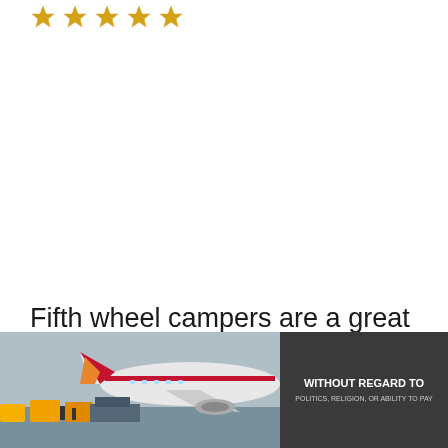[Figure (illustration): Five gold/orange star rating icons in a row at the top of the page]
Fifth wheel campers are a great choice if you are seeking a lifestyle that is bold and fun-filled. They are perfect if you plan to roam
[Figure (photo): Advertisement banner at bottom of page showing an airplane being loaded with cargo/freight at an airport, with a dark sidebar panel reading 'WITHOUT REGARD TO POLITICS, RELIGION, OR ABILITY TO PAY']